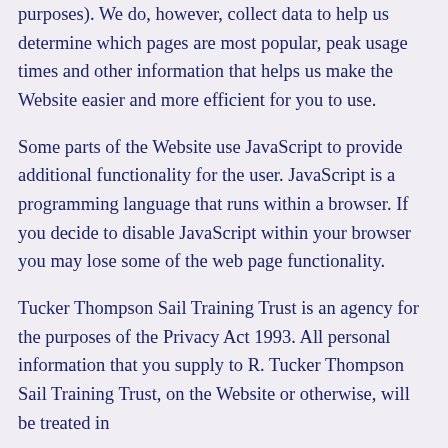purposes). We do, however, collect data to help us determine which pages are most popular, peak usage times and other information that helps us make the Website easier and more efficient for you to use.
Some parts of the Website use JavaScript to provide additional functionality for the user. JavaScript is a programming language that runs within a browser. If you decide to disable JavaScript within your browser you may lose some of the web page functionality.
Tucker Thompson Sail Training Trust is an agency for the purposes of the Privacy Act 1993. All personal information that you supply to R. Tucker Thompson Sail Training Trust, on the Website or otherwise, will be treated in